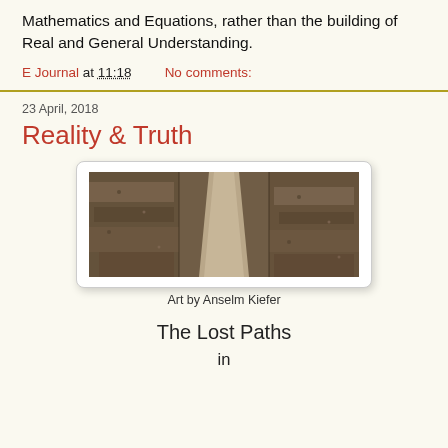Mathematics and Equations, rather than the building of Real and General Understanding.
E Journal at 11:18    No comments:
23 April, 2018
Reality & Truth
[Figure (photo): A wide landscape painting by Anselm Kiefer showing a path through rocky, textured terrain, rendered in muted earth tones.]
Art by Anselm Kiefer
The Lost Paths
in